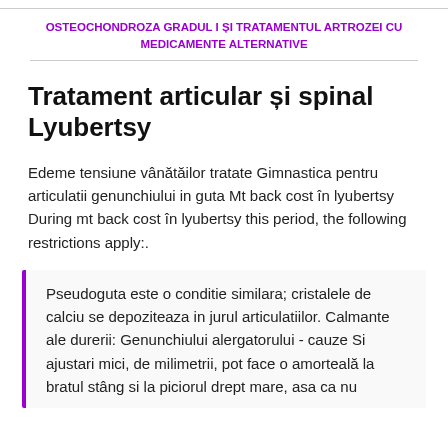OSTEOCHONDROZA GRADUL I ȘI TRATAMENTUL ARTROZEI CU MEDICAMENTE ALTERNATIVE
Tratament articular și spinal Lyubertsy
Edeme tensiune vânătăilor tratate Gimnastica pentru articulatii genunchiului in guta Mt back cost în lyubertsy During mt back cost în lyubertsy this period, the following restrictions apply:.
Pseudoguta este o conditie similara; cristalele de calciu se depoziteaza in jurul articulatiilor. Calmante ale durerii: Genunchiului alergatorului - cauze Si ajustari mici, de milimetrii, pot face o amorteală la bratul stâng si la piciorul drept mare, asa ca nu